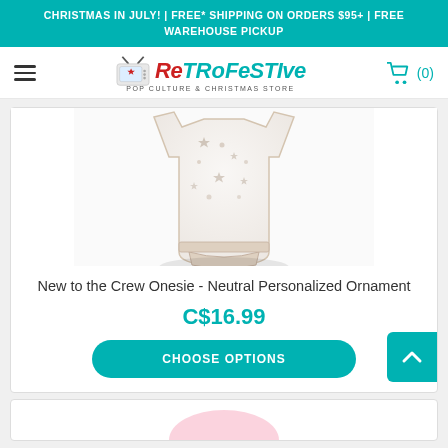CHRISTMAS IN JULY! | FREE* SHIPPING ON ORDERS $95+ | FREE WAREHOUSE PICKUP
[Figure (logo): RetroFestive Pop Culture & Christmas Store logo with TV antenna icon, red and teal text]
[Figure (photo): New to the Crew Onesie - white baby onesie with star and dot pattern, neutral colors]
New to the Crew Onesie - Neutral Personalized Ornament
C$16.99
CHOOSE OPTIONS